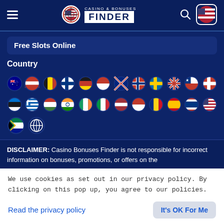[Figure (logo): Casino & Bonuses Finder logo with hamburger menu, search icon, and flag button in dark navy header]
Free Slots Online
Country
[Figure (infographic): Grid of circular country flag icons — Australia, Austria, Belgium, Finland, Germany, Indonesia, New Zealand, Norway, Sweden, UK, Chile, Denmark (row 1); Estonia, Greece, Hungary, India, Ireland, Italy, Latvia, Italy2, Romania, Spain, Thailand, USA (row 2); South Africa, International (row 3)]
DISCLAIMER: Casino Bonuses Finder is not responsible for incorrect information on bonuses, promotions, or offers on the
We use cookies as set out in our privacy policy. By clicking on this pop up, you agree to our policies.
Read the privacy policy
It's OK For Me